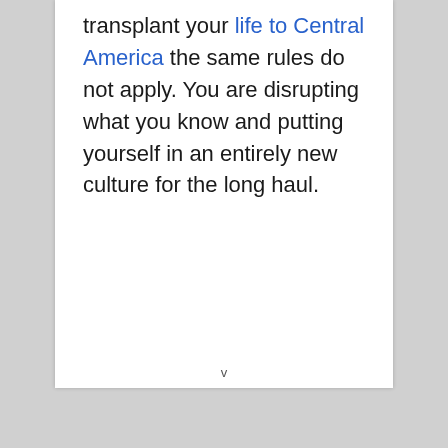transplant your life to Central America the same rules do not apply. You are disrupting what you know and putting yourself in an entirely new culture for the long haul.
v